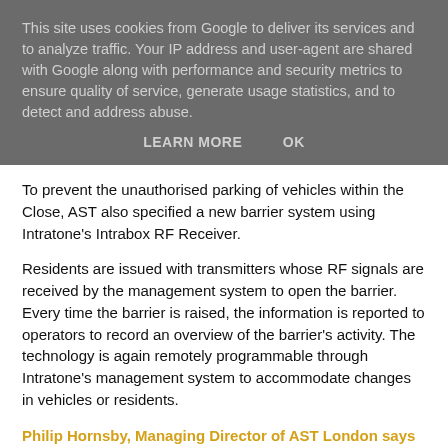This site uses cookies from Google to deliver its services and to analyze traffic. Your IP address and user-agent are shared with Google along with performance and security metrics to ensure quality of service, generate usage statistics, and to detect and address abuse.
LEARN MORE    OK
To prevent the unauthorised parking of vehicles within the Close, AST also specified a new barrier system using Intratone's Intrabox RF Receiver.
Residents are issued with transmitters whose RF signals are received by the management system to open the barrier. Every time the barrier is raised, the information is reported to operators to record an overview of the barrier's activity. The technology is again remotely programmable through Intratone's management system to accommodate changes in vehicles or residents.
Philip Hornsby, Managing Director of AST London says that he is very positive with Intratone as a result of...